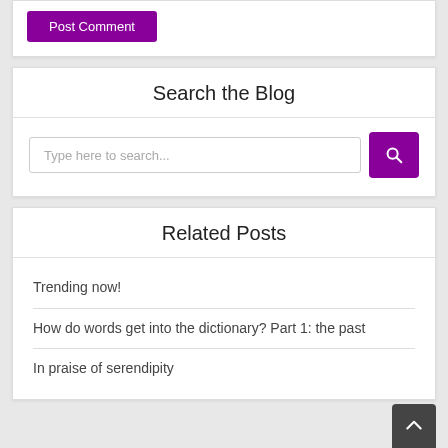Post Comment
Search the Blog
Type here to search...
Related Posts
Trending now!
How do words get into the dictionary? Part 1: the past
In praise of serendipity